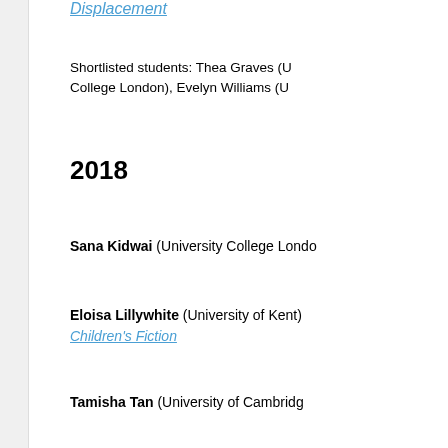Displacement
Shortlisted students: Thea Graves (University College London), Evelyn Williams (U...
2018
Sana Kidwai (University College London)
Eloisa Lillywhite (University of Kent): Children's Fiction
Tamisha Tan (University of Cambridge)
Shortlisted students: Kinza Akbar (U...) (University of Leeds).
2017
Sarah Asinari (Queen Mary University)
Charlotte Liu (University College London)
Huinan Zeng (University of Sheffield): word-medial mispronunciation in Man...
Shortlisted students: Charlotte Bush (University of York), Jonne Kramer (U...) (University of Manchester), Oliver Sa...